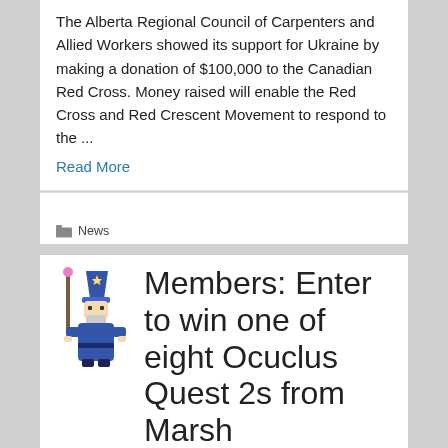The Alberta Regional Council of Carpenters and Allied Workers showed its support for Ukraine by making a donation of $100,000 to the Canadian Red Cross. Money raised will enable the Red Cross and Red Crescent Movement to respond to the ...
Read More
News
[Figure (illustration): Pixel-art style wizard character in blue robes holding a pink staff]
Members: Enter to win one of eight Ocuclus Quest 2s from Marsh
by ADMINISTRATOR on MARCH 9, 2022 with NO COMMENTS
Members of the Alberta Regional Council of